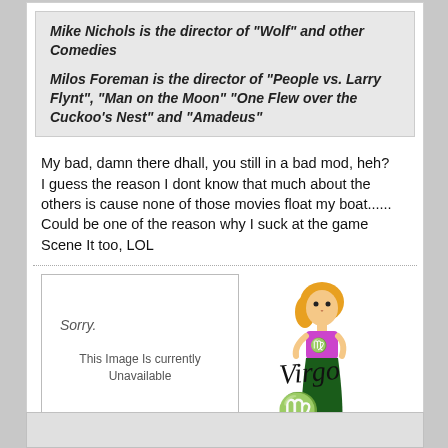Mike Nichols is the director of "Wolf" and other Comedies
Milos Foreman is the director of "People vs. Larry Flynt", "Man on the Moon" "One Flew over the Cuckoo's Nest" and "Amadeus"
My bad, damn there dhall, you still in a bad mod, heh?
I guess the reason I dont know that much about the others is cause none of those movies float my boat......
Could be one of the reason why I suck at the game Scene It too, LOL
[Figure (other): Photobucket placeholder image: Sorry. This Image Is currently Unavailable]
[Figure (illustration): Virgo zodiac illustration: cartoon blonde woman in purple top and green skirt with Virgo text and symbol]